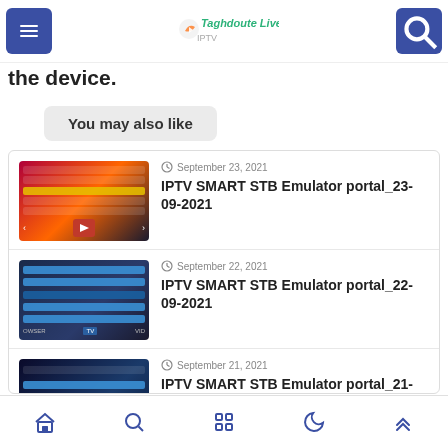Taghdoute Live — navigation header with menu and search buttons
This application works through those es where the channels are full during the device.
You may also like
September 23, 2021
IPTV SMART STB Emulator portal_23-09-2021
September 22, 2021
IPTV SMART STB Emulator portal_22-09-2021
September 21, 2021
IPTV SMART STB Emulator portal_21-09-
Home | Search | Apps | Dark mode | Up